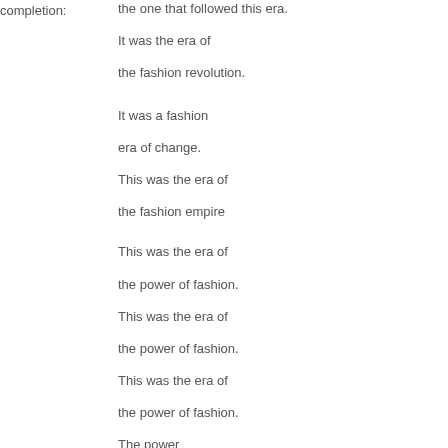completion:
the one that followed this era.
It was the era of
the fashion revolution.
It was a fashion
era of change.
This was the era of
the fashion empire
This was the era of
the power of fashion.
This was the era of
the power of fashion.
This was the era of
the power of fashion.
The power
of fashion came to earth.
But